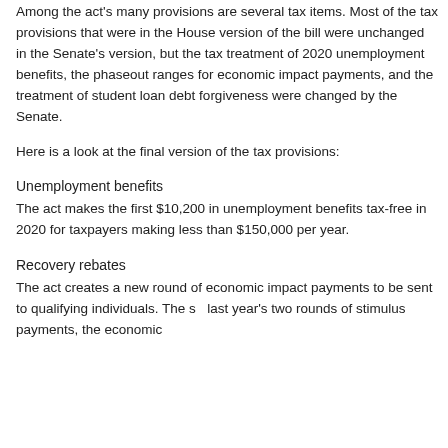Among the act's many provisions are several tax items. Most of the tax provisions that were in the House version of the bill were unchanged in the Senate's version, but the tax treatment of 2020 unemployment benefits, the phaseout ranges for economic impact payments, and the treatment of student loan debt forgiveness were changed by the Senate.
Here is a look at the final version of the tax provisions:
Unemployment benefits
The act makes the first $10,200 in unemployment benefits tax-free in 2020 for taxpayers making less than $150,000 per year.
Recovery rebates
The act creates a new round of economic impact payments to be sent to qualifying individuals. The so last year's two rounds of stimulus payments, the economic